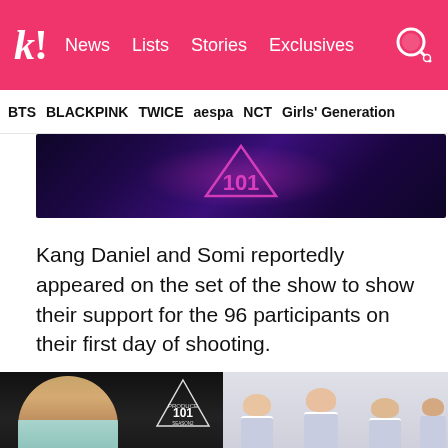k! News  Lists  Stories  Exclusives
BTS  BLACKPINK  TWICE  aespa  NCT  Girls' Generation
[Figure (photo): Purple/dark background with Produce 101 logo glowing in neon pink]
Kang Daniel and Somi reportedly appeared on the set of the show to show their support for the 96 participants on their first day of shooting.
[Figure (photo): Left: young male K-pop artist with light brown hair looking down, wearing mint jacket, Produce 101 Season 2 logo visible. Right: group of female K-pop artists in white/grey school uniforms with plaid ties.]